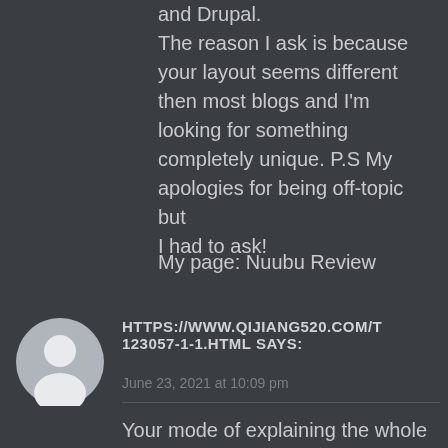and Drupal.
The reason I ask is because your layout seems different then most blogs and I'm looking for something completely unique. P.S My apologies for being off-topic but
I had to ask!

My page: Nuubu Review
[Figure (illustration): Grey circular avatar placeholder with a white silhouette of a person]
HTTPS://WWW.QIJIANG520.COM/T 123057-1-1.HTML says:
June 23, 2021 at 10:09 pm
Your mode of explaining the whole thing